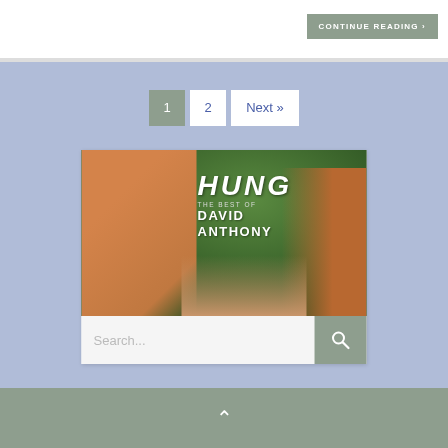CONTINUE READING >
1
2
Next »
[Figure (photo): Promotional image for 'HUNG - The Best of David Anthony', featuring a muscular man in the foreground and two other people in the background against a green leafy backdrop. Text overlay reads 'HUNG THE BEST OF DAVID ANTHONY'.]
Search...
^